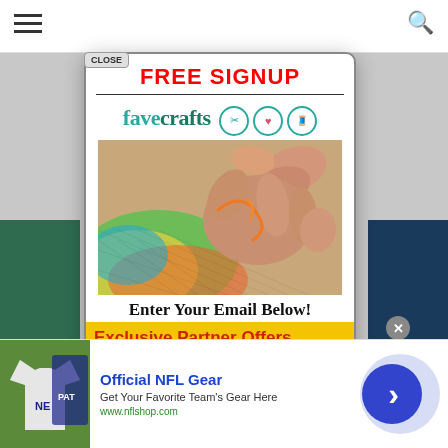[Figure (screenshot): Website screenshot background with hamburger menu icon on left, search icon on right, teal/green and navy blue side bars visible]
FREE SIGNUP
[Figure (logo): FaveCrafts logo with teal text and circular icons for scissors, heart, and thread spool]
[Figure (photo): Close-up photo of hands crocheting with a colorful rainbow mesh fabric]
Enter Your Email Below!
Exclusive Partner Offers
Easy Craft Projects
[Figure (screenshot): Bottom advertisement bar: Official NFL Gear ad with jersey photo, blue title text, description, green URL, close button, and blue arrow button]